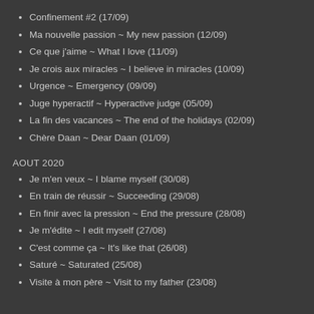Confinement #2 (17/09)
Ma nouvelle passion ~ My new passion (12/09)
Ce que j'aime ~ What I love (11/09)
Je crois aux miracles ~ I believe in miracles (10/09)
Urgence ~ Emergency (09/09)
Juge hyperactif ~ Hyperactive judge (05/09)
La fin des vacances ~ The end of the holidays (02/09)
Chère Daan ~ Dear Daan (01/09)
AOUT 2020
Je m'en veux ~ I blame myself (30/08)
En train de réussir ~ Succeeding (29/08)
En finir avec la pression ~ End the pressure (28/08)
Je m'édite ~ I edit myself (27/08)
C'est comme ça ~ It's like that (26/08)
Saturé ~ Saturated (25/08)
Visite à mon père ~ Visit to my father (23/08)